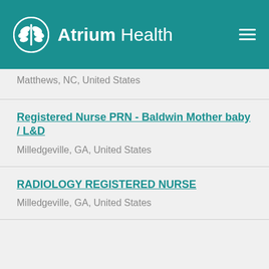Atrium Health
Matthews, NC, United States
Registered Nurse PRN - Baldwin Mother baby / L&D
Milledgeville, GA, United States
RADIOLOGY REGISTERED NURSE
Milledgeville, GA, United States